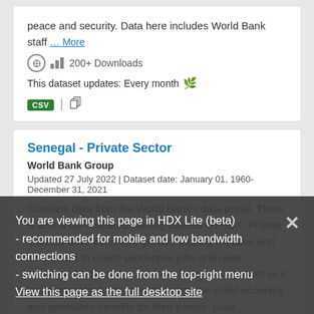peace and security. Data here includes World Bank staff … More
200+ Downloads
This dataset updates: Every month
CSV
Senegal - Private Sector
World Bank Group
Updated 27 July 2022 | Dataset date: January 01, 1960-December 31, 2021
Contains data from the World Bank's data portal. There is also a consolidated country dataset on HDX. Private markets drive economic growth, tapping initiative and investment to create productive jobs and raise incomes. Trade is also a driver of economic growth as it integrates developing countries into the world economy and generates benefits for their people. Data ... More
200+ Downloads
This dataset updates: Every month
You are viewing this page in HDX Lite (beta)
- recommended for mobile and low bandwidth connections
- switching can be done from the top-right menu
View this page as the full desktop site